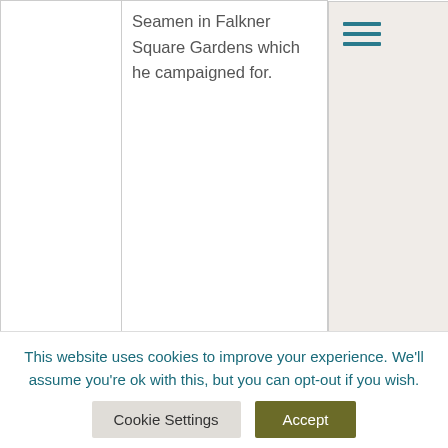|  |  |  |
| --- | --- | --- |
|  | Seamen in Falkner Square Gardens which he campaigned for. |  |
| '2600' | Inspired by the Irish Famine Trail memorial plaque on | https://www.liverpool.ac...studies/whose-history/2... |
This website uses cookies to improve your experience. We'll assume you're ok with this, but you can opt-out if you wish.